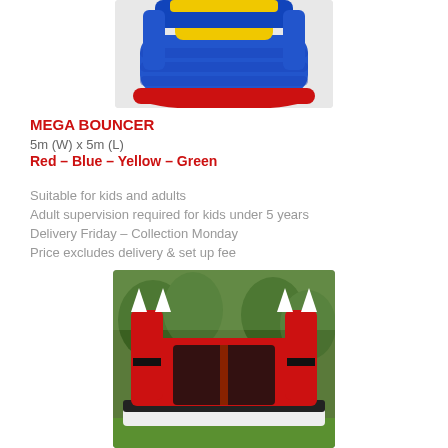[Figure (photo): Top portion of a colorful inflatable mega bouncer (blue, red, yellow stripes) cropped at the top of the page]
MEGA BOUNCER
5m (W) x 5m (L)
Red – Blue – Yellow – Green
Suitable for kids and adults
Adult supervision required for kids under 5 years
Delivery Friday – Collection Monday
Price excludes delivery & set up fee
[Figure (photo): Red and black inflatable bouncy castle with white pointed turrets set on grass with trees in background]